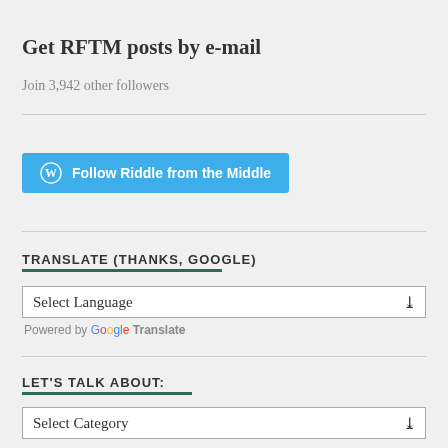Get RFTM posts by e-mail
Join 3,942 other followers
[Figure (other): Button: Follow Riddle from the Middle (WordPress follow button, blue background with WordPress logo)]
TRANSLATE (THANKS, GOOGLE)
Select Language dropdown
Powered by Google Translate
LET'S TALK ABOUT:
Select Category dropdown